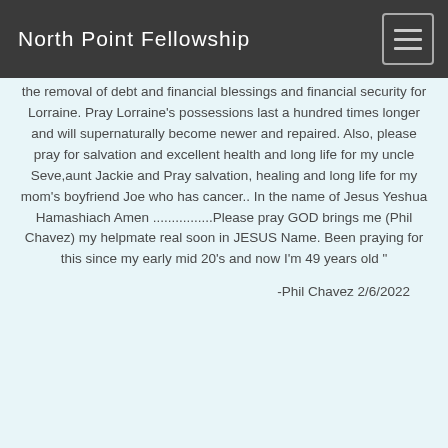North Point Fellowship
the removal of debt and financial blessings and financial security for Lorraine. Pray Lorraine's possessions last a hundred times longer and will supernaturally become newer and repaired. Also, please pray for salvation and excellent health and long life for my uncle Seve,aunt Jackie and Pray salvation, healing and long life for my mom's boyfriend Joe who has cancer.. In the name of Jesus Yeshua Hamashiach Amen ................Please pray GOD brings me (Phil Chavez) my helpmate real soon in JESUS Name. Been praying for this since my early mid 20's and now I'm 49 years old "
-Phil Chavez 2/6/2022